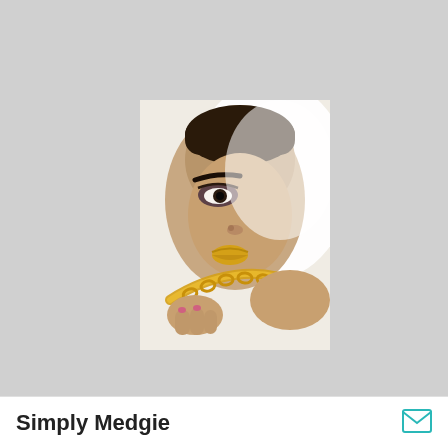[Figure (photo): Close-up portrait of a woman with dramatic eye makeup and gold lipstick, holding a large gold chain necklace near her face and neck. High-key lighting with white background.]
Simply Medgie